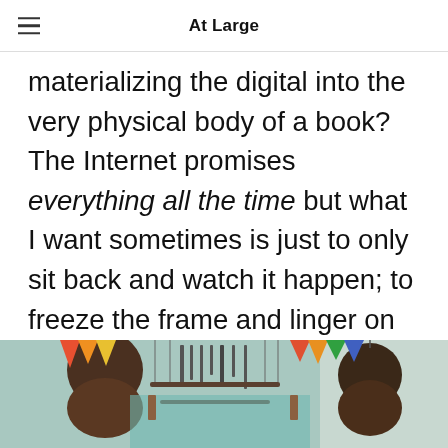At Large
materializing the digital into the very physical body of a book? The Internet promises everything all the time but what I want sometimes is just to only sit back and watch it happen; to freeze the frame and linger on every image, or the space between the next one.
[Figure (photo): Photo showing hanging decorative spheres and colorful paper decorations suspended from above, appearing to be a festive or party setting with warm tones.]